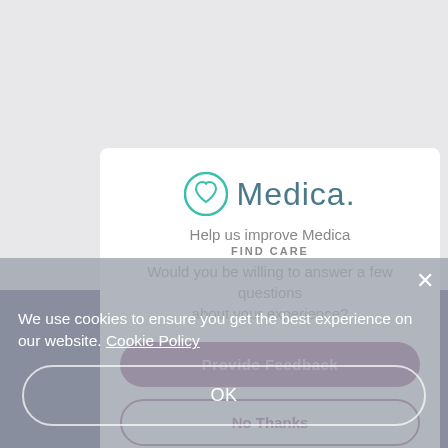[Figure (screenshot): Medica website with overlapping modals: a feedback survey modal with logo and buttons, overlaid by a cookie consent banner on a navy background.]
Help us improve Medica
FIND CARE
Would you be willing to answer a few questions about your experience?
Provide Feedback
No Thanks
We use cookies to ensure you get the best experience on our website. Cookie Policy
OK